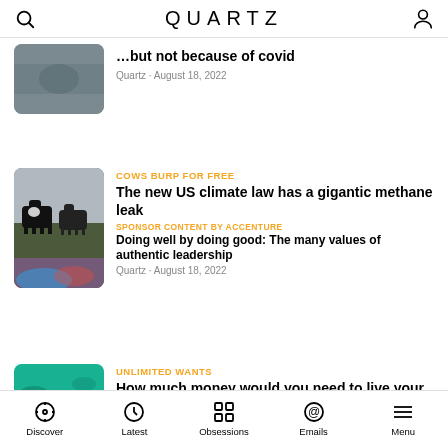QUARTZ
…but not because of covid
Quartz · August 18, 2022
COWS BURP FOR FREE
The new US climate law has a gigantic methane leak
Quartz · August 18, 2022
SPONSOR CONTENT BY ACCENTURE
Doing well by doing good: The many values of authentic leadership
UNLIMITED WANTS
How much money would you need to live your ideal life?
Discover  Latest  Obsessions  Emails  Menu